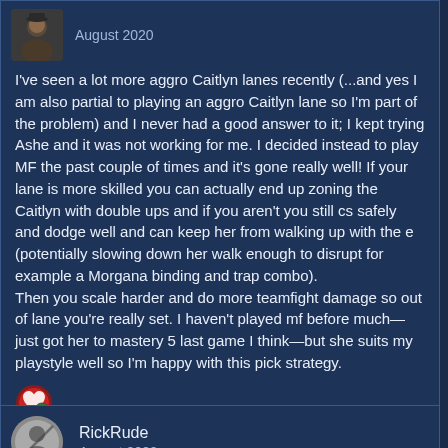August 2020
I've seen a lot more aggro Caitlyn lanes recently (...and yes I am also partial to playing an aggro Caitlyn lane so I'm part of the problem) and I never had a good answer to it; I kept trying Ashe and it was not working for me. I decided instead to play MF the past couple of times and it's gone really well! If your lane is more skilled you can actually end up zoning the Caitlyn with double ups and if you aren't you still cs safely and dodge well and can keep her from walking up with the e (potentially slowing down her walk enough to disrupt for example a Morgana binding and trap combo).
Then you scale harder and do more teamfight damage so out of lane you're really set. I haven't played mf before much—just got her to mastery 5 last game I think—but she suits my playstyle well so I'm happy with this pick strategy.
RickRude
August 2020